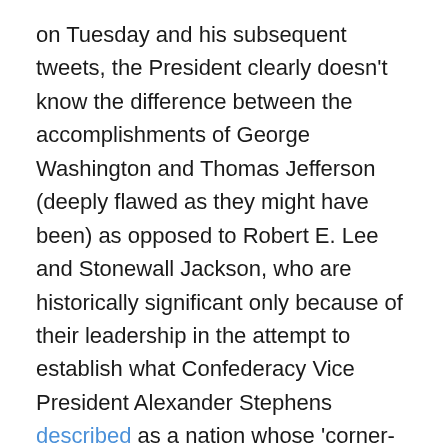on Tuesday and his subsequent tweets, the President clearly doesn't know the difference between the accomplishments of George Washington and Thomas Jefferson (deeply flawed as they might have been) as opposed to Robert E. Lee and Stonewall Jackson, who are historically significant only because of their leadership in the attempt to establish what Confederacy Vice President Alexander Stephens described as a nation whose 'corner- stone rests, upon the great truth that the negro is not equal to the white man; that slavery subordination to the superior race is his natural and normal condition.' The President's ignorance of history has been on vivid display before: in his homage to Andrew Jackson or reference to abolitionist Frederick Douglass in the present tense, as if he were still alive. This is disappointing but not tragic. What's tragic is that so many